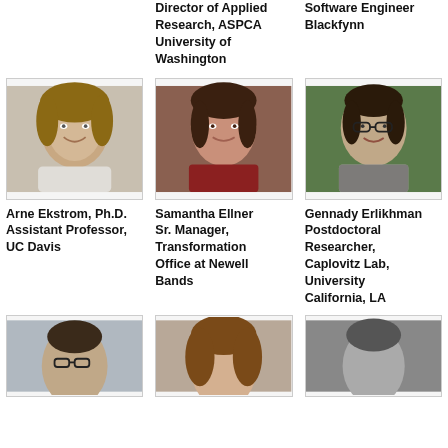Director of Applied Research, ASPCA University of Washington
Software Engineer Blackfynn
[Figure (photo): Headshot of Arne Ekstrom, a man with medium-length hair, smiling]
[Figure (photo): Headshot of Samantha Ellner, a woman with dark hair]
[Figure (photo): Headshot of Gennady Erlikhman, a man with glasses outdoors]
Arne Ekstrom, Ph.D.
Assistant Professor, UC Davis
Samantha Ellner
Sr. Manager, Transformation Office at Newell Bands
Gennady Erlikhman
Postdoctoral Researcher, Caplovitz Lab, University California, LA
[Figure (photo): Headshot of a man with glasses, partial view]
[Figure (photo): Headshot of a woman with curly hair]
[Figure (photo): Headshot of a person, black and white photo]